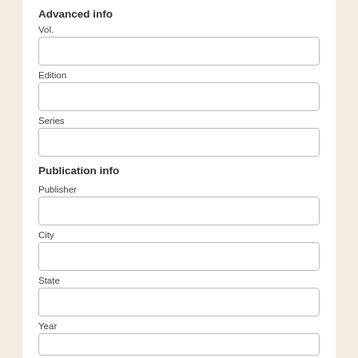Advanced info
Vol.
Edition
Series
Publication info
Publisher
City
State
Year